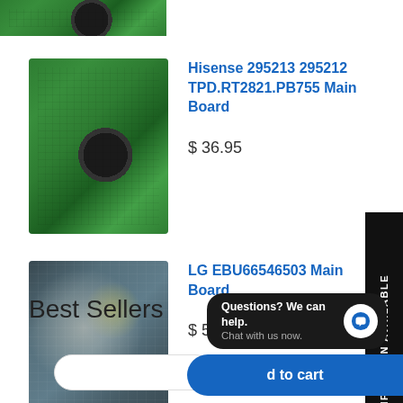[Figure (photo): Partial view of a green circuit board / main board at the top of the page]
[Figure (photo): Green PCB circuit board - Hisense 295213 295212 TPD.RT2821.PB755 Main Board product image]
Hisense 295213 295212 TPD.RT2821.PB755 Main Board
$ 36.95
[Figure (photo): LG EBU66546503 Main Board product image - grey/white PCB circuit board]
LG EBU66546503 Main Board
$ 54.76
Best Sellers
Questions? We can help. Chat with us now.
d to cart